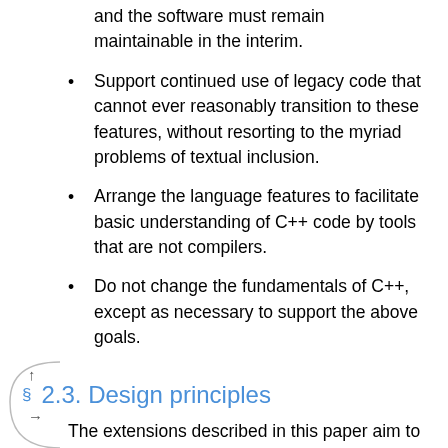and the software must remain maintainable in the interim.
Support continued use of legacy code that cannot ever reasonably transition to these features, without resorting to the myriad problems of textual inclusion.
Arrange the language features to facilitate basic understanding of C++ code by tools that are not compilers.
Do not change the fundamentals of C++, except as necessary to support the above goals.
2.3. Design principles
The extensions described in this paper aim to conform to these design principles:
Be consistent and general. New language